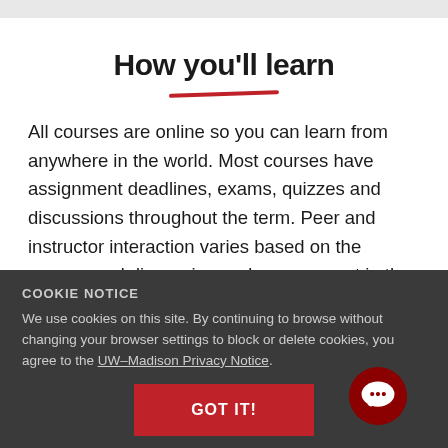How you'll learn
All courses are online so you can learn from anywhere in the world. Most courses have assignment deadlines, exams, quizzes and discussions throughout the term. Peer and instructor interaction varies based on the course, and discussion and engagement in the digital learning
COOKIE NOTICE
We use cookies on this site. By continuing to browse without changing your browser settings to block or delete cookies, you agree to the UW–Madison Privacy Notice.
GOT IT!